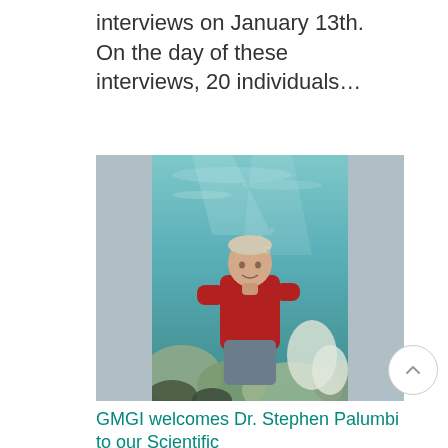interviews on January 13th. On the day of these interviews, 20 individuals…
[Figure (photo): Person in a red shirt underwater near coral reef, photographed from below in clear blue-green water.]
GMGI welcomes Dr. Stephen Palumbi to our Scientific